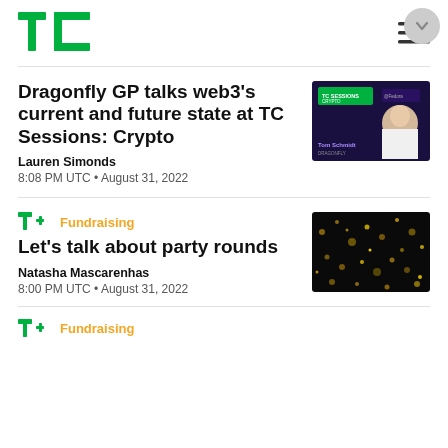TechCrunch logo and navigation
Dragonfly GP talks web3's current and future state at TC Sessions: Crypto
Lauren Simonds
8:08 PM UTC • August 31, 2022
[Figure (photo): Tom Schmidt at TC Sessions: Crypto event thumbnail]
Let's talk about party rounds
Natasha Mascarenhas
8:00 PM UTC • August 31, 2022
[Figure (photo): Abstract dark background with gold sparkle particles]
TC+ Fundraising